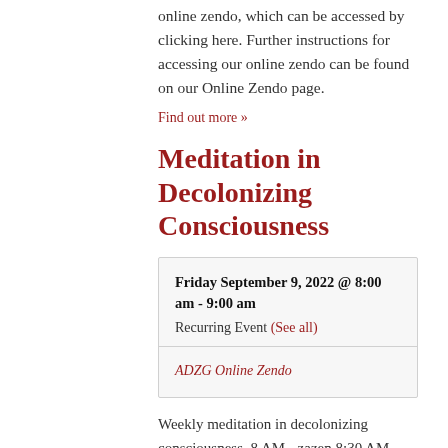online zendo, which can be accessed by clicking here. Further instructions for accessing our online zendo can be found on our Online Zendo page.
Find out more »
Meditation in Decolonizing Consciousness
| Friday September 9, 2022 @ 8:00 am - 9:00 am | Recurring Event (See all) |
| ADZG Online Zendo |  |
Weekly meditation in decolonizing consciousness. 8 AM - zazen 8:30 AM -